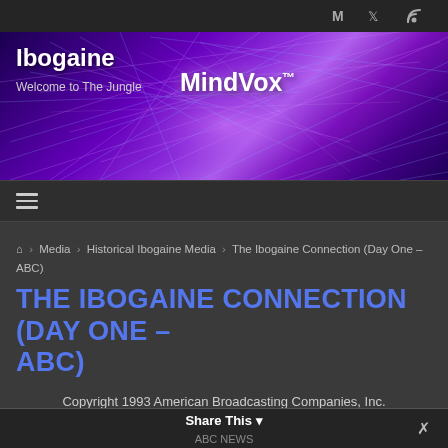Social icons: M, Twitter, RSS
[Figure (illustration): Ibogaine MindVox banner with purple neural network background, text: Ibogaine, Welcome to The Jungle, MindVox™]
Hamburger navigation menu icon
🏠 › Media › Historical Ibogaine Media › The Ibogaine Connection (Day One – ABC)
THE IBOGAINE CONNECTION (DAY ONE – ABC)
Copyright 1993 American Broadcasting Companies, Inc.
Share This ▼ ABC NEWS ✕